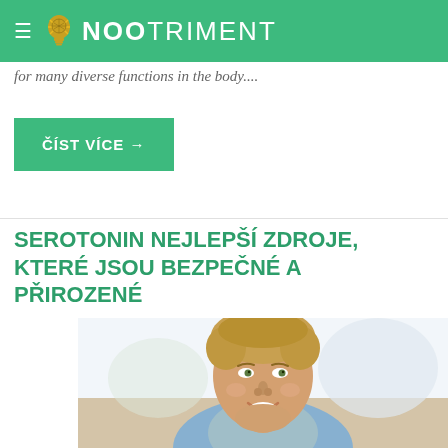NOOTRIMENT
for many diverse functions in the body....
ČÍST VÍCE →
SEROTONIN NEJLEPŠÍ ZDROJE, KTERÉ JSOU BEZPEČNÉ A PŘIROZENÉ
[Figure (photo): Smiling young man with blonde hair wearing a light blue shirt, photographed in a bright indoor setting]